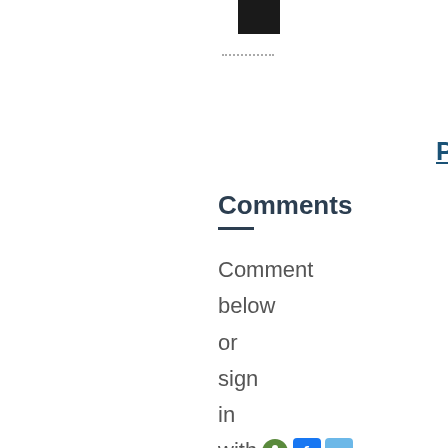[Figure (other): Black square/rectangle icon at top]
Pe
Comments
Comment below or sign in with and
[Figure (other): Input text box (form field)]